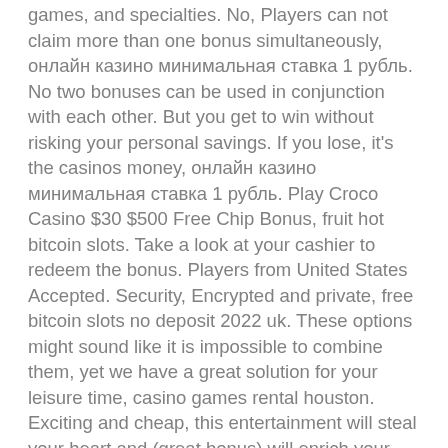games, and specialties. No, Players can not claim more than one bonus simultaneously, онлайн казино минимальная ставка 1 рубль. No two bonuses can be used in conjunction with each other. But you get to win without risking your personal savings. If you lose, it's the casinos money, онлайн казино минимальная ставка 1 рубль. Play Croco Casino $30 $500 Free Chip Bonus, fruit hot bitcoin slots. Take a look at your cashier to redeem the bonus. Players from United States Accepted. Security, Encrypted and private, free bitcoin slots no deposit 2022 uk. These options might sound like it is impossible to combine them, yet we have a great solution for your leisure time, casino games rental houston. Exciting and cheap, this entertainment will steal your heart and (great bonus) will enrich your wallet! Click on Enter Code and type in the coupon code you wish to redeem, real money slot machines no deposit. I entered 50NDB : If you have a